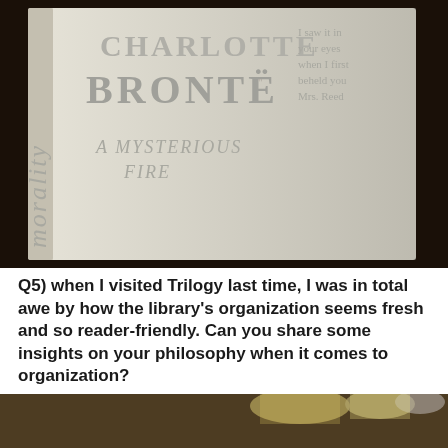[Figure (photo): Photo of a Charlotte Brontë book cover on a dark wooden table. The cover is white/cream colored with decorative typography showing 'CHARLOTTE BRONTË', 'A MYSTERIOUS FIRE', 'morality' written vertically in italic, and a quote 'I saw it in your eyes when I first beheld you Mrs. Reed'.]
Q5) when I visited Trilogy last time, I was in total awe by how the library's organization seems fresh and so reader-friendly. Can you share some insights on your philosophy when it comes to organization?
[Figure (photo): Partial photo of what appears to be an interior space, possibly the Trilogy library, with warm lighting visible at the top of the frame. The image is cropped and only the top portion is visible.]